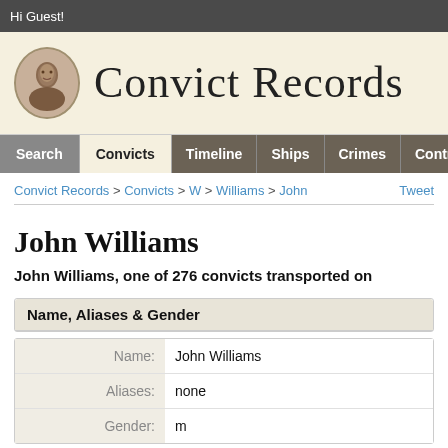Hi Guest!
Convict Records
Search | Convicts | Timeline | Ships | Crimes | Contribute
Convict Records > Convicts > W > Williams > John    Tweet
John Williams
John Williams, one of 276 convicts transported on
Name, Aliases & Gender
|  |  |
| --- | --- |
| Name: | John Williams |
| Aliases: | none |
| Gender: | m |